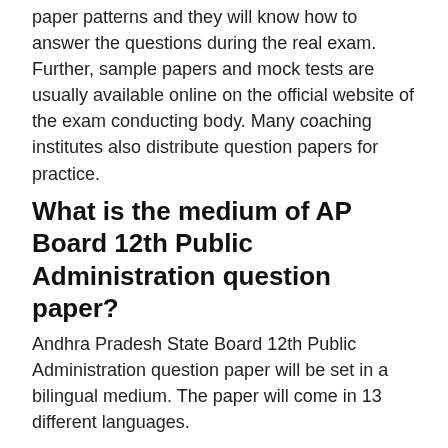paper patterns and they will know how to answer the questions during the real exam. Further, sample papers and mock tests are usually available online on the official website of the exam conducting body. Many coaching institutes also distribute question papers for practice.
What is the medium of AP Board 12th Public Administration question paper?
Andhra Pradesh State Board 12th Public Administration question paper will be set in a bilingual medium. The paper will come in 13 different languages.
SHARE: f  ✓  G+